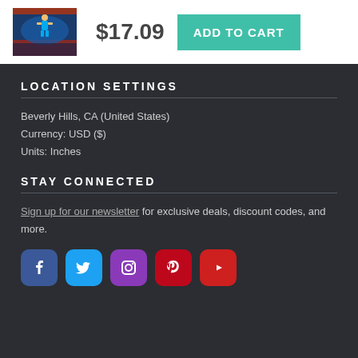[Figure (photo): NBA basketball player dunking at an arena event, product thumbnail image]
$17.09
ADD TO CART
LOCATION SETTINGS
Beverly Hills, CA (United States)
Currency: USD ($)
Units: Inches
STAY CONNECTED
Sign up for our newsletter for exclusive deals, discount codes, and more.
[Figure (infographic): Social media icons: Facebook, Twitter, Instagram, Pinterest, YouTube]
Copyright © 2022 photostore.nba.com - All Rights Reserved - Website Powered by Fine Art America / Pixels